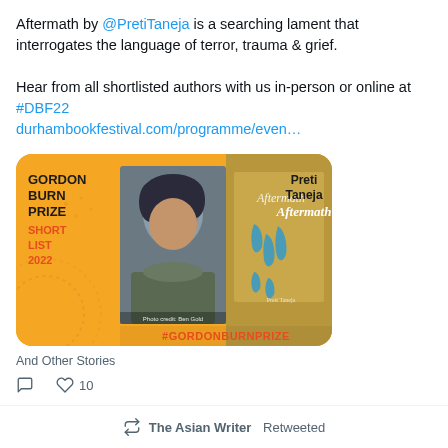Aftermath by @PretiTaneja is a searching lament that interrogates the language of terror, trauma & grief.

Hear from all shortlisted authors with us in-person or online at #DBF22 durhambookfestival.com/programme/even…
[Figure (photo): Gordon Burn Prize Shortlist 2022 promotional card with orange background, showing a photo of Preti Taneja and the book cover of Aftermath, with #GORDONBURNPRIZE hashtag]
And Other Stories
10 (likes)
The Asian Writer Retweeted